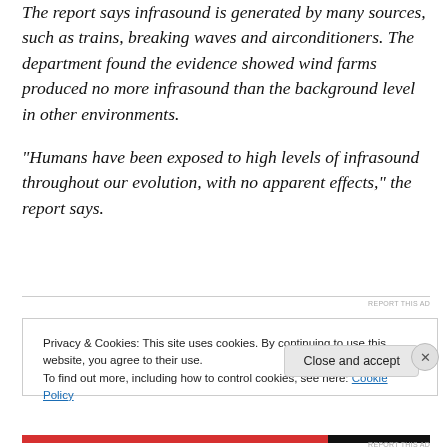The report says infrasound is generated by many sources, such as trains, breaking waves and airconditioners. The department found the evidence showed wind farms produced no more infrasound than the background level in other environments.
"Humans have been exposed to high levels of infrasound throughout our evolution, with no apparent effects," the report says.
Privacy & Cookies: This site uses cookies. By continuing to use this website, you agree to their use. To find out more, including how to control cookies, see here: Cookie Policy